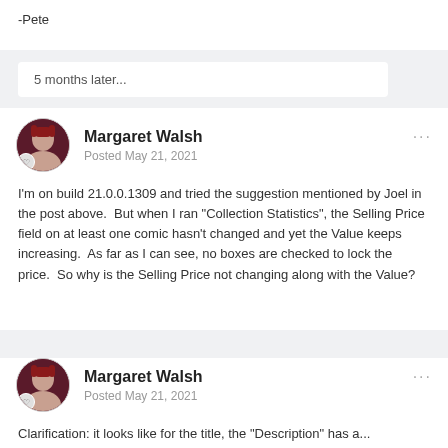-Pete
5 months later...
Margaret Walsh
Posted May 21, 2021
I'm on build 21.0.0.1309 and tried the suggestion mentioned by Joel in the post above.  But when I ran "Collection Statistics", the Selling Price field on at least one comic hasn't changed and yet the Value keeps increasing.  As far as I can see, no boxes are checked to lock the price.  So why is the Selling Price not changing along with the Value?
Margaret Walsh
Posted May 21, 2021
Clarification: it looks like for the title, the "Description" has a...